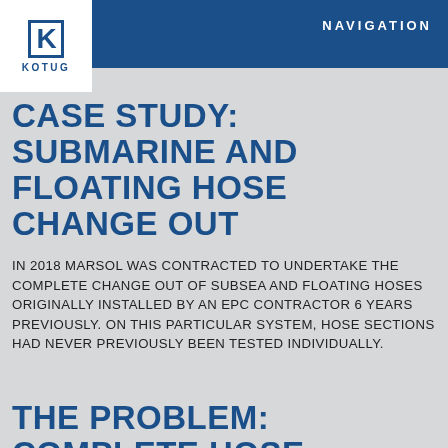NAVIGATION
[Figure (logo): KOTUG company logo with K letterform in blue square and KOTUG wordmark below]
CASE STUDY: SUBMARINE AND FLOATING HOSE CHANGE OUT
IN 2018 MARSOL WAS CONTRACTED TO UNDERTAKE THE COMPLETE CHANGE OUT OF SUBSEA AND FLOATING HOSES ORIGINALLY INSTALLED BY AN EPC CONTRACTOR 6 YEARS PREVIOUSLY. ON THIS PARTICULAR SYSTEM, HOSE SECTIONS HAD NEVER PREVIOUSLY BEEN TESTED INDIVIDUALLY.
THE PROBLEM: COMPLETE HOSE CHANGE OUT